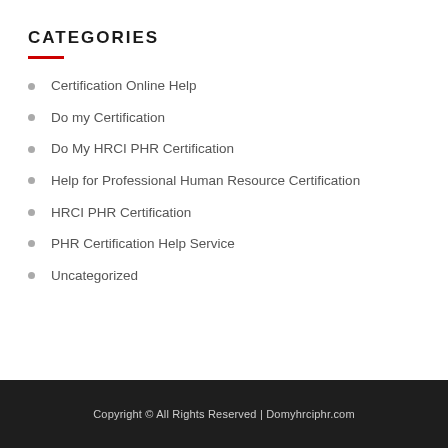CATEGORIES
Certification Online Help
Do my Certification
Do My HRCI PHR Certification
Help for Professional Human Resource Certification
HRCI PHR Certification
PHR Certification Help Service
Uncategorized
Copyright © All Rights Reserved | Domyhrciphr.com